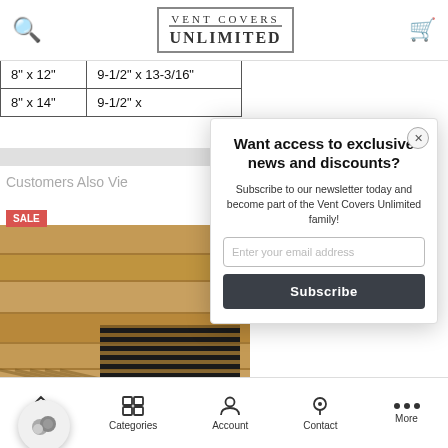Vent Covers Unlimited
| 8" x 12" | 9-1/2" x 13-3/16" |
| 8" x 14" | 9-1/2" x |
Customers Also Vie
[Figure (photo): Wooden floor vent cover product photo with SALE badge]
TO CART
Want access to exclusive news and discounts?
Subscribe to our newsletter today and become part of the Vent Covers Unlimited family!
Enter your email address
Subscribe
Home  Categories  Account  Contact  More